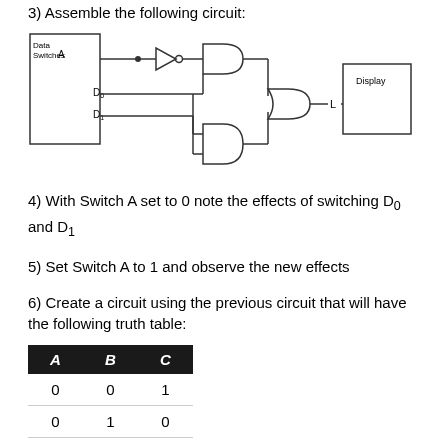3) Assemble the following circuit:
[Figure (circuit-diagram): Logic circuit diagram with Data Switches box (inputs A, D0, D1), NOT gate on A, AND gates, OR gate, and Display box with output L.]
4) With Switch A set to 0 note the effects of switching D0 and D1
5) Set Switch A to 1 and observe the new effects
6) Create a circuit using the previous circuit that will have the following truth table:
| A | B | C |
| --- | --- | --- |
| 0 | 0 | 1 |
| 0 | 1 | 0 |
| 1 | 0 | 0 |
| 1 | 1 | 1 |